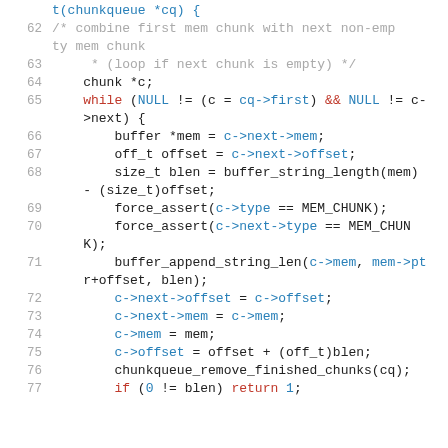[Figure (screenshot): Source code snippet in C showing lines 62-77 of a function dealing with chunkqueue memory chunk operations. Line numbers are shown in gray on the left. Keywords like 'while', 'if', 'return' are in red; function/pointer arrows are in blue; comments are in gray.]